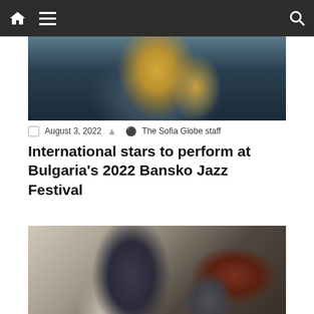Navigation bar with home, menu, and search icons
[Figure (photo): Partial photo of a woman with dark hair smiling, holding or near a gold trumpet instrument, against a dark teal background]
August 3, 2022  The Sofia Globe staff
International stars to perform at Bulgaria's 2022 Bansko Jazz Festival
[Figure (photo): Photo of a person in dark clothing standing near office/voting equipment on a table, with papers and a machine visible, brown wall in background]